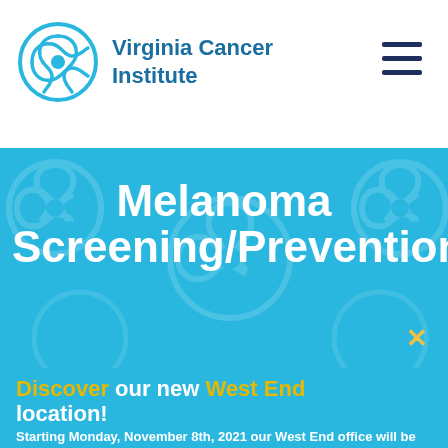Virginia Cancer Institute
Melanoma Screening/Prevention
Discover our new West End location! Starting Monday, November 8th, 2021 our West End office will be located at: 8007 Discovery Dr, Suite A, Richmond, VA 23229 Map It